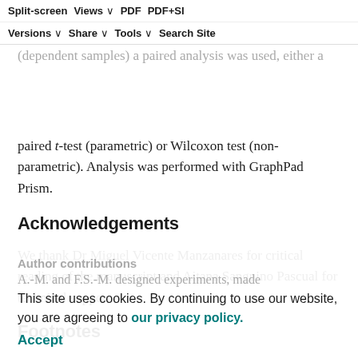Split-screen | Views | PDF | PDF+SI | Versions | Share | Tools | Search Site
test was used for group analysis. Finally, when compared samples were activated under the same conditions (dependent samples) a paired analysis was used, either a paired t-test (parametric) or Wilcoxon test (non-parametric). Analysis was performed with GraphPad Prism.
Acknowledgements
We thank Dr Miguel Vicente Manzanares for critical reading of the manuscript and Aitana Sanguino Pascual for technical support.
Footnotes
Author contributions
A.-M. and F.S.-M. designed experiments, made
This site uses cookies. By continuing to use our website, you are agreeing to our privacy policy. Accept